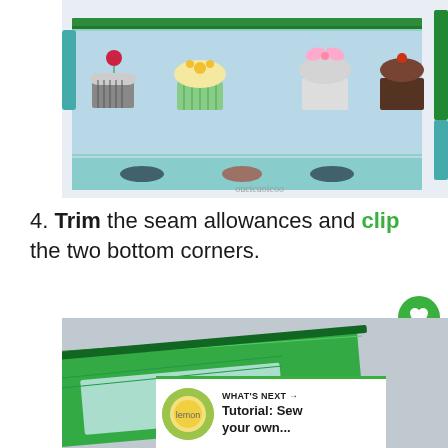[Figure (photo): A fabric pouch/pencil case with cupcake-patterned light blue fabric and green zipper, lying flat on a white surface. A second fabric piece with fish/animal pattern on teal background is visible below. Watermark reads 'oucicuoicoo'.]
4. Trim the seam allowances and clip the two bottom corners.
[Figure (photo): A partially visible green fabric pouch/bag with decorative stitching along the zipper edge, photographed from above on a light grey background. A 'What's Next' recommendation card is overlaid showing a circular thumbnail of a lemon/citrus item and text 'Tutorial: Sew your own...']